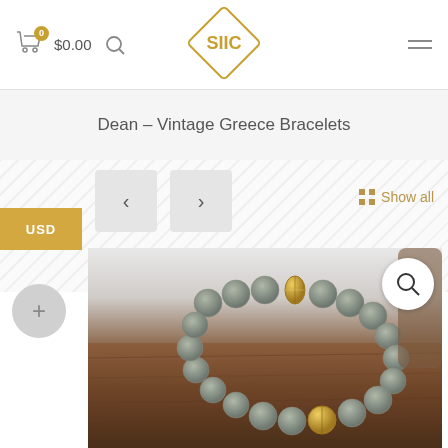0  $0.00  [search]  SIIC  [menu]
Dean – Vintage Greece Bracelets
[Figure (screenshot): E-commerce product page showing a beaded bracelet (Dean - Vintage Greece Bracelets) with gray stone beads and gold accent beads, displayed on a wooden surface. Navigation arrows, USD currency selector, Show all link, plus button, and magnify button are visible.]